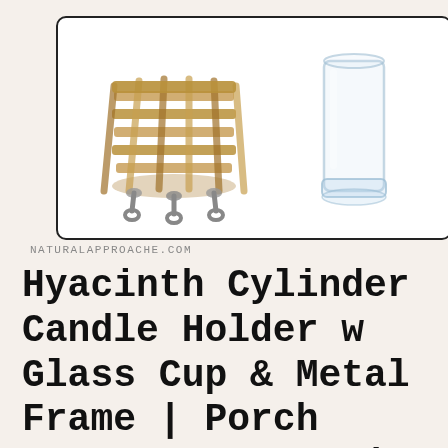[Figure (photo): Product photo showing a woven hyacinth basket candle holder with metal legs on the left and a clear glass cylinder cup on the right, on a white background inside a rounded rectangle border.]
NATURALAPPROACHE.COM
Hyacinth Cylinder Candle Holder w Glass Cup & Metal Frame | Porch Lantern Decorative